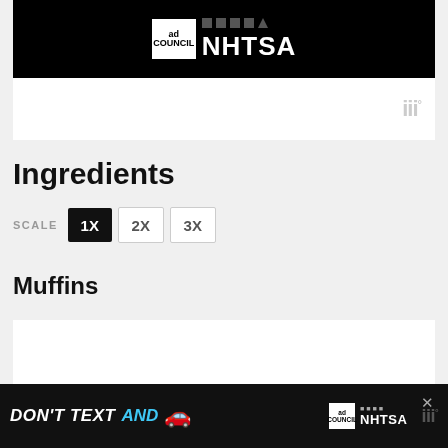[Figure (logo): Ad Council and NHTSA logos on black background banner]
[Figure (logo): Wistia player watermark logo in gray on white bar]
Ingredients
SCALE 1X 2X 3X
Muffins
[Figure (screenshot): DON'T TEXT advertisement on black background with yellow text]
[Figure (screenshot): Bottom banner ad: DON'T TEXT AND with car emoji and NHTSA logo on black background]